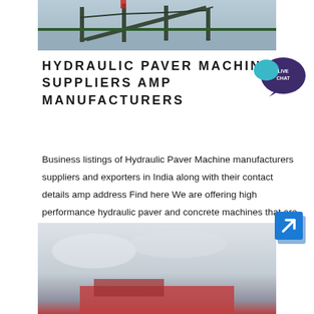[Figure (photo): Industrial paver/construction site with steel structures and conveyor belts near water]
HYDRAULIC PAVER MACHINE SUPPLIERS AMP MANUFACTURERS
[Figure (illustration): Live Chat speech bubble icon in dark purple/teal]
Business listings of Hydraulic Paver Machine manufacturers suppliers and exporters in India along with their contact details amp address Find here We are offering high performance hydraulic paver and concrete machines that are very useful in the construction industry These machines are nbsp …
[Figure (photo): Hydraulic paver machine/construction vehicle photographed from low angle against sky]
[Figure (illustration): Blue square button with white arrow icon pointing upper-right]